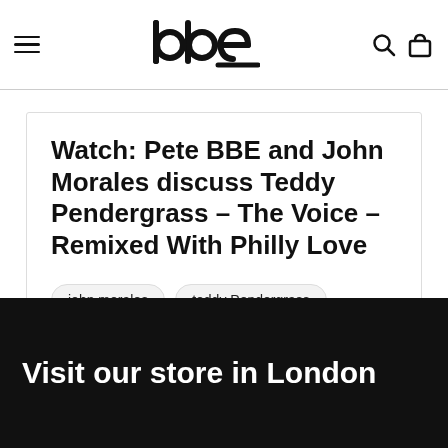bbe
Watch: Pete BBE and John Morales discuss Teddy Pendergrass – The Voice – Remixed With Philly Love
john morales
teddy Pendergrass
Visit our store in London